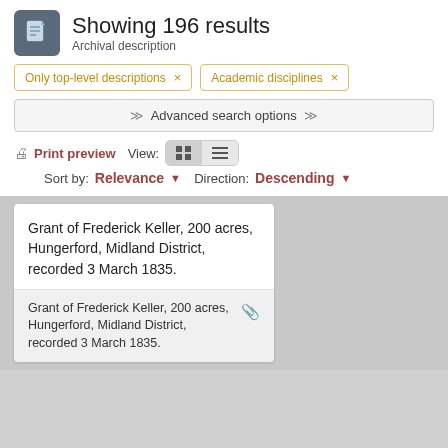Showing 196 results
Archival description
Only top-level descriptions ×
Academic disciplines ×
≫  Advanced search options  ≫
Print preview   View:
Sort by:  Relevance ▾   Direction:  Descending ▾
Grant of Frederick Keller, 200 acres, Hungerford, Midland District, recorded 3 March 1835.
Grant of Frederick Keller, 200 acres, Hungerford, Midland District, recorded 3 March 1835.